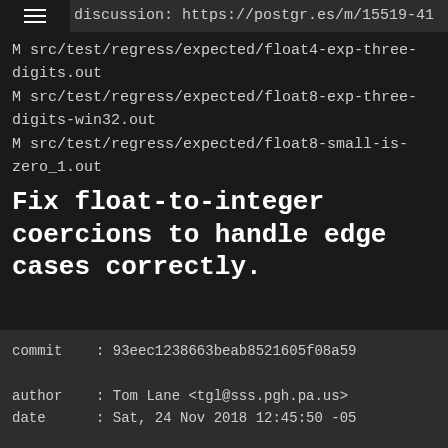discussion: https://postgr.es/m/15519-41
M src/test/regress/expected/float4-exp-three-digits.out
M src/test/regress/expected/float8-exp-three-digits-win32.out
M src/test/regress/expected/float8-small-is-zero_1.out
Fix float-to-integer coercions to handle edge cases correctly.
commit    : 93eec1238663beab8521605f08a59

author    : Tom Lane <tgl@sss.pgh.pa.us>
date      : Sat, 24 Nov 2018 12:45:50 -05

committer: Tom Lane <tgl@sss.pgh.pa.us>
date      : Sat, 24 Nov 2018 12:45:50 -05